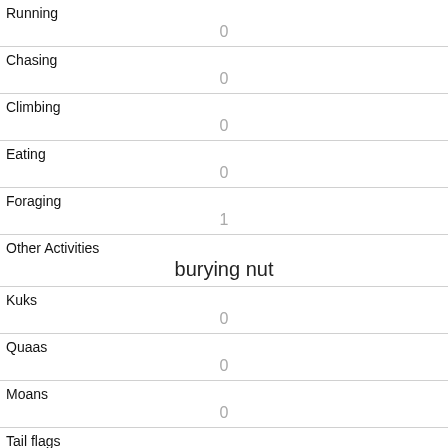| Running | 0 |
| Chasing | 0 |
| Climbing | 0 |
| Eating | 0 |
| Foraging | 1 |
| Other Activities | burying nut |
| Kuks | 0 |
| Quaas | 0 |
| Moans | 0 |
| Tail flags | 0 |
| Tail twitches |  |